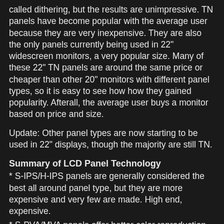called dithering, but the results are unimpressive. TN panels have become popular with the average user because they are very inexpensive. They are also the only panels currently being used in 22" widescreen monitors, a very popular size. Many of these 22" TN panels are around the same price or cheaper than other 20" monitors with different panel types, so it is easy to see how how they gained popularity. Afterall, the average user buys a monitor based on price and size.
Update: Other panel types are now starting to be used in 22" displays, though the majority are still TN.
Summary of LCD Panel Technology
* S-IPS/H-IPS panels are generally considered the best all around panel type, but they are more expensive and very few are made. High end, expensive.
* S-PVA/MVA panels offer better color reproduction and viewing angles than TN panels, have slightly worse response times than TN or S-IPS, offer the best contrast ratios, may suffer from color shifting or input lag and have higher availability than S-IPS panels. Mid range, fair price.
* TN panels are very cheap and have the fastest response